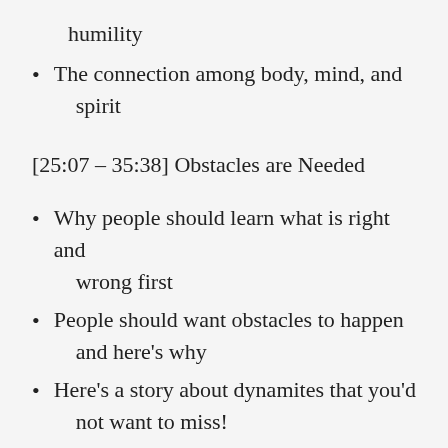humility
The connection among body, mind, and spirit
[25:07 – 35:38] Obstacles are Needed
Why people should learn what is right and wrong first
People should want obstacles to happen and here's why
Here's a story about dynamites that you'd not want to miss!